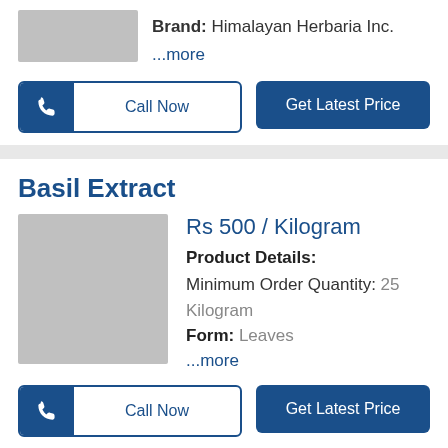Brand: Himalayan Herbaria Inc.
...more
Call Now
Get Latest Price
Basil Extract
Rs 500 / Kilogram
Product Details:
Minimum Order Quantity: 25 Kilogram
Form: Leaves
...more
Call Now
Get Latest Price